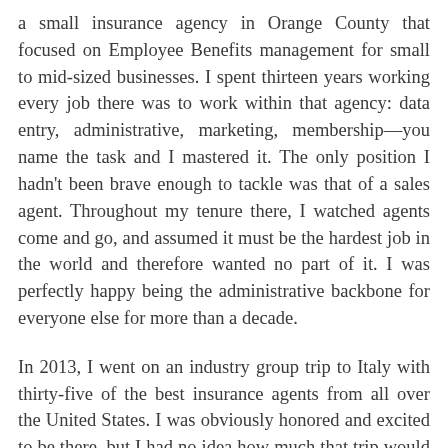a small insurance agency in Orange County that focused on Employee Benefits management for small to mid-sized businesses. I spent thirteen years working every job there was to work within that agency: data entry, administrative, marketing, membership—you name the task and I mastered it. The only position I hadn't been brave enough to tackle was that of a sales agent. Throughout my tenure there, I watched agents come and go, and assumed it must be the hardest job in the world and therefore wanted no part of it. I was perfectly happy being the administrative backbone for everyone else for more than a decade.
In 2013, I went on an industry group trip to Italy with thirty-five of the best insurance agents from all over the United States. I was obviously honored and excited to be there, but I had no idea how much that trip would change the path of my life. In fact, I can remember the exact moment everything changed for me. I was sitting in a fancy Italian hotel conference room, debating with the country's best and brightest agents about the onset of